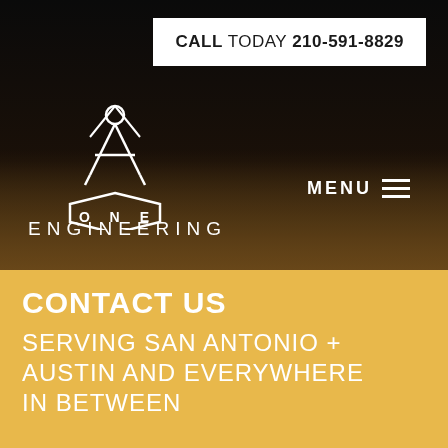CALL TODAY 210-591-8829
[Figure (logo): ONE Engineering logo with compass/drafting tool icon above a hexagonal badge reading O N E, and ENGINEERING text below]
MENU ≡
CONTACT US
SERVING SAN ANTONIO + AUSTIN AND EVERYWHERE IN BETWEEN